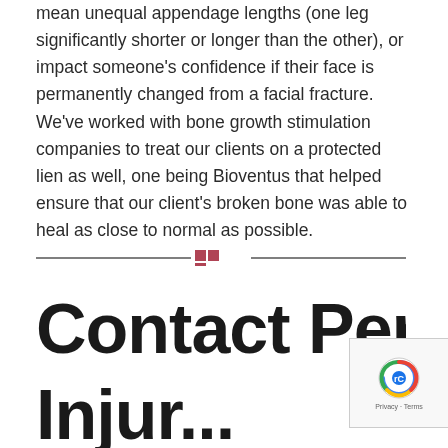mean unequal appendage lengths (one leg significantly shorter or longer than the other), or impact someone's confidence if their face is permanently changed from a facial fracture. We've worked with bone growth stimulation companies to treat our clients on a protected lien as well, one being Bioventus that helped ensure that our client's broken bone was able to heal as close to normal as possible.
[Figure (logo): Decorative divider with a small grid logo icon (dark red/maroon squares arranged in a 2x2 grid with one square missing top-right) flanked by horizontal lines]
Contact Persona
Injur...